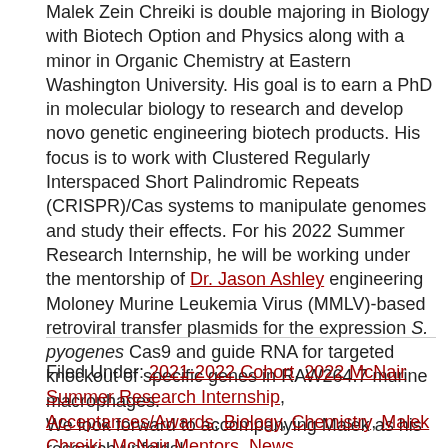Malek Zein Chreiki is double majoring in Biology with Biotech Option and Physics along with a minor in Organic Chemistry at Eastern Washington University. His goal is to earn a PhD in molecular biology to research and develop novo genetic engineering biotech products. His focus is to work with Clustered Regularly Interspaced Short Palindromic Repeats (CRISPR)/Cas systems to manipulate genomes and study their effects. For his 2022 Summer Research Internship, he will be working under the mentorship of Dr. Jason Ashley engineering Moloney Murine Leukemia Virus (MMLV)-based retroviral transfer plasmids for the expression S. pyogenes Cas9 and guide RNA for targeted knockout of specific genes in RAW264.7 murine macrophages. We look forward to accompanying Malek as his research unfolds!
Filed Under: 2021-2022 Cohort, 2022 McNair Summer Research Internship, Acceptances/Awards, Biology, Chemistry, Malek Chreiki, McNair Mentors, News